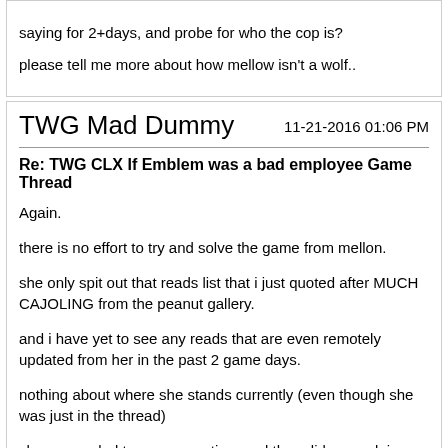saying for 2+days, and probe for who the cop is?

please tell me more about how mellow isn't a wolf..
TWG Mad Dummy
11-21-2016 01:06 PM
Re: TWG CLX If Emblem was a bad employee Game Thread
Again.
there is no effort to try and solve the game from mellon.
she only spit out that reads list that i just quoted after MUCH CAJOLING from the peanut gallery.
and i have yet to see any reads that are even remotely updated from her in the past 2 game days.
nothing about where she stands currently (even though she was just in the thread)
she responded to my accusation, and then did no work in deciding who was scum, in fixing her reads, in explaining where she sits in the game.
she didn't even vote.
so, i repeat. Why aren't we lynching mellon?